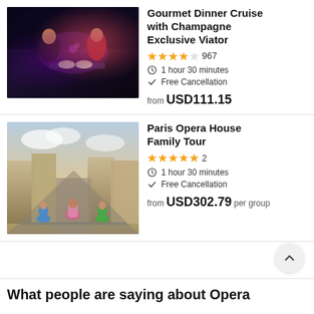[Figure (photo): Couple dining at a romantic dinner cruise with purple lighting at night]
Gourmet Dinner Cruise with Champagne Exclusive Viator
★★★★☆ 967
⏱ 1 hour 30 minutes
✓ Free Cancellation
from USD111.15
[Figure (photo): Three children looking out over a Paris street from a balcony with the Opera House view]
Paris Opera House Family Tour
★★★★★ 2
⏱ 1 hour 30 minutes
✓ Free Cancellation
from USD302.79 per group
What people are saying about Opera